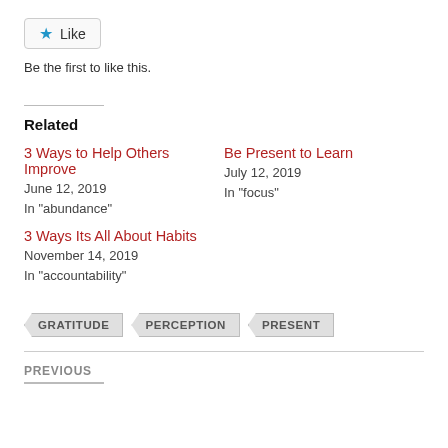[Figure (other): Like button with blue star icon and 'Like' label]
Be the first to like this.
Related
3 Ways to Help Others Improve
June 12, 2019
In "abundance"
Be Present to Learn
July 12, 2019
In "focus"
3 Ways Its All About Habits
November 14, 2019
In "accountability"
GRATITUDE   PERCEPTION   PRESENT
PREVIOUS